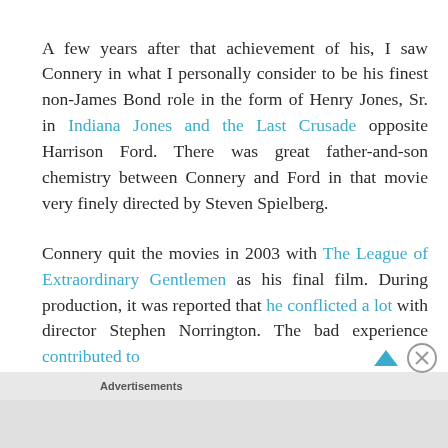A few years after that achievement of his, I saw Connery in what I personally consider to be his finest non-James Bond role in the form of Henry Jones, Sr. in Indiana Jones and the Last Crusade opposite Harrison Ford. There was great father-and-son chemistry between Connery and Ford in that movie very finely directed by Steven Spielberg.
Connery quit the movies in 2003 with The League of Extraordinary Gentlemen as his final film. During production, it was reported that he conflicted a lot with director Stephen Norrington. The bad experience contributed to
Advertisements